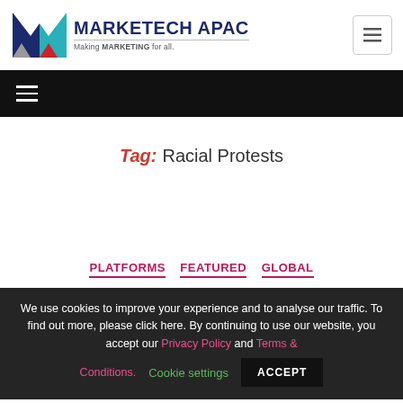MARKETECH APAC — Making MARKETING for all.
Tag: Racial Protests
PLATFORMS   FEATURED   GLOBAL
We use cookies to improve your experience and to analyse our traffic. To find out more, please click here. By continuing to use our website, you accept our Privacy Policy and Terms & Conditions.   Cookie settings   ACCEPT